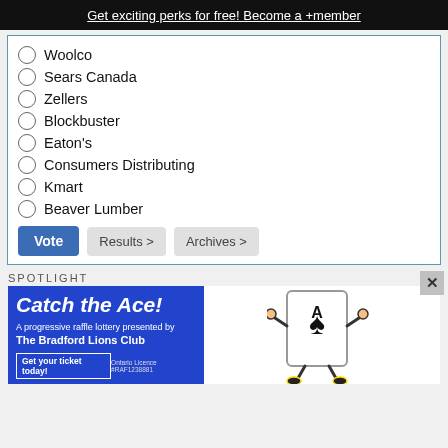Get exciting perks for free! Become a +member
Woolco
Sears Canada
Zellers
Blockbuster
Eaton's
Consumers Distributing
Kmart
Beaver Lumber
Vote  Results >  Archives >
SPOTLIGHT
[Figure (infographic): Catch the Ace! advertisement banner. A progressive raffle lottery presented by The Bradford Lions Club. Get your ticket today! Ontario Licence #RAF1238881. Features an illustrated Ace of Spades playing card character with arms and legs.]